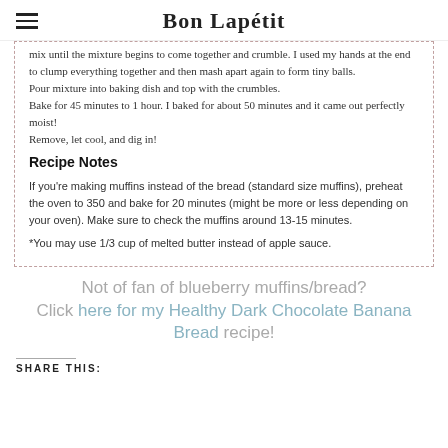Bon Lapétit
mix until the mixture begins to come together and crumble. I used my hands at the end to clump everything together and then mash apart again to form tiny balls.
Pour mixture into baking dish and top with the crumbles.
Bake for 45 minutes to 1 hour. I baked for about 50 minutes and it came out perfectly moist!
Remove, let cool, and dig in!
Recipe Notes
If you're making muffins instead of the bread (standard size muffins), preheat the oven to 350 and bake for 20 minutes (might be more or less depending on your oven). Make sure to check the muffins around 13-15 minutes.
*You may use 1/3 cup of melted butter instead of apple sauce.
Not of fan of blueberry muffins/bread? Click here for my Healthy Dark Chocolate Banana Bread recipe!
SHARE THIS: